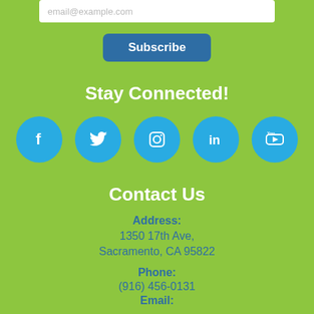email@example.com
[Figure (other): Blue Subscribe button]
Stay Connected!
[Figure (infographic): Social media icons: Facebook, Twitter, Instagram, LinkedIn, YouTube]
Contact Us
Address:
1350 17th Ave,
Sacramento, CA 95822
Phone:
(916) 456-0131
Email:
info@funderlandpark.com